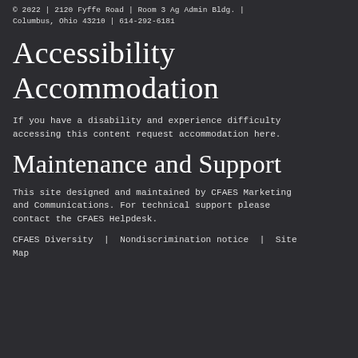© 2022 | 2120 Fyffe Road | Room 3 Ag Admin Bldg. | Columbus, Ohio 43210 | 614-292-6181
Accessibility Accommodation
If you have a disability and experience difficulty accessing this content request accommodation here.
Maintenance and Support
This site designed and maintained by CFAES Marketing and Communications. For technical support please contact the CFAES Helpdesk.
CFAES Diversity | Nondiscrimination notice | Site Map